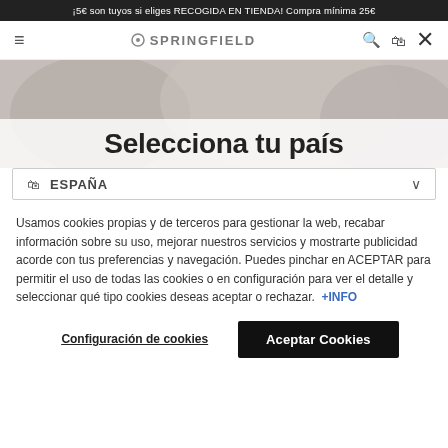¡5€ son tuyos si eliges RECOGIDA EN TIENDA! Compra mínima 25€
[Figure (screenshot): Springfield website navigation bar with hamburger menu, Springfield logo, search and cart icons, and X close button]
[Figure (photo): Background hero image showing people, partially visible behind a semi-transparent white overlay]
Selecciona tu país
ESPAÑA (country selector dropdown)
Usamos cookies propias y de terceros para gestionar la web, recabar información sobre su uso, mejorar nuestros servicios y mostrarte publicidad acorde con tus preferencias y navegación. Puedes pinchar en ACEPTAR para permitir el uso de todas las cookies o en configuración para ver el detalle y seleccionar qué tipo cookies deseas aceptar o rechazar.  +INFO
Configuración de cookies
Aceptar Cookies